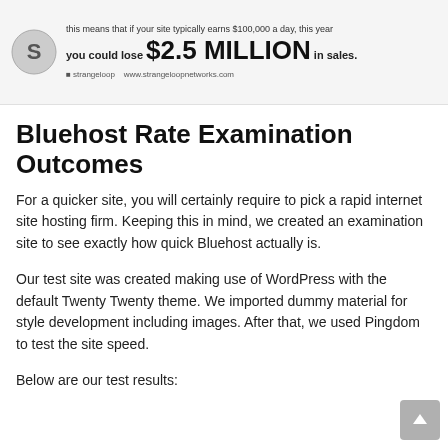[Figure (infographic): Strangeloop infographic showing that if your site typically earns $100,000 a day, this year you could lose $2.5 MILLION in sales. Logo and website URL visible.]
Bluehost Rate Examination Outcomes
For a quicker site, you will certainly require to pick a rapid internet site hosting firm. Keeping this in mind, we created an examination site to see exactly how quick Bluehost actually is.
Our test site was created making use of WordPress with the default Twenty Twenty theme. We imported dummy material for style development including images. After that, we used Pingdom to test the site speed.
Below are our test results: